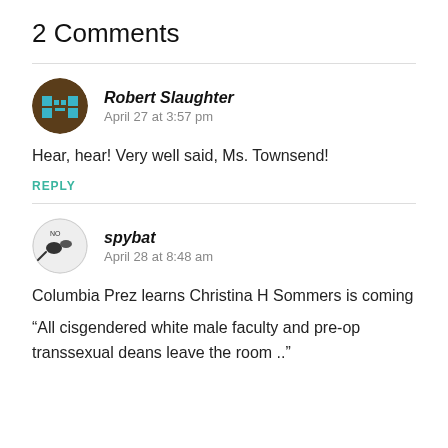2 Comments
Robert Slaughter
April 27 at 3:57 pm
Hear, hear! Very well said, Ms. Townsend!
REPLY
spybat
April 28 at 8:48 am
Columbia Prez learns Christina H Sommers is coming
“All cisgendered white male faculty and pre-op transsexual deans leave the room ..”